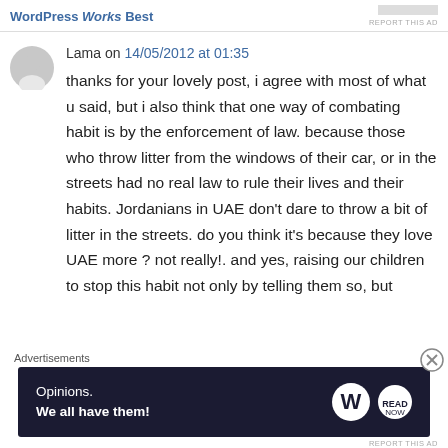WordPress Works Best | REPORT THIS AD
Lama on 14/05/2012 at 01:35
thanks for your lovely post, i agree with most of what u said, but i also think that one way of combating habit is by the enforcement of law. because those who throw litter from the windows of their car, or in the streets had no real law to rule their lives and their habits. Jordanians in UAE don't dare to throw a bit of litter in the streets. do you think it's because they love UAE more ? not really!. and yes, raising our children to stop this habit not only by telling them so, but
Advertisements
[Figure (infographic): WordPress advertisement banner: dark navy background with text 'Opinions. We all have them!' and WordPress logo and another circular logo on the right]